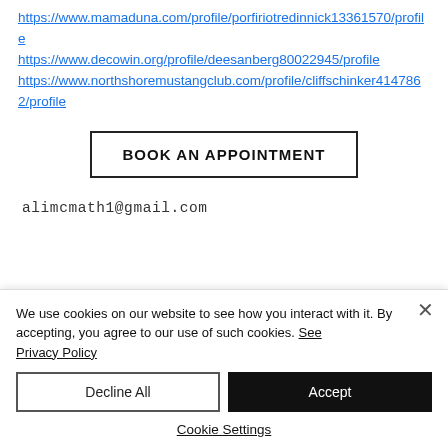https://www.mamaduna.com/profile/porfiriotredinnick13361570/profile https://www.decowin.org/profile/deesanberg80022945/profile https://www.northshoremustangclub.com/profile/cliffschinker4147862/profile
BOOK AN APPOINTMENT
alimcmath1@gmail.com
We use cookies on our website to see how you interact with it. By accepting, you agree to our use of such cookies. See Privacy Policy
Decline All
Accept
Cookie Settings